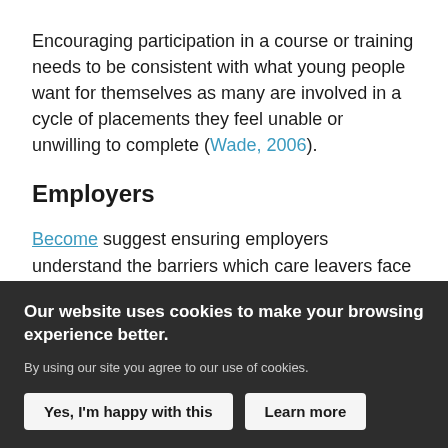Encouraging participation in a course or training needs to be consistent with what young people want for themselves as many are involved in a cycle of placements they feel unable or unwilling to complete (Wade, 2006).
Employers
Become suggest ensuring employers understand the barriers which care leavers face and adjust their recruitment practices accordingly. Employers can have a huge role to play in providing routes to employment and
Our website uses cookies to make your browsing experience better.
By using our site you agree to our use of cookies.